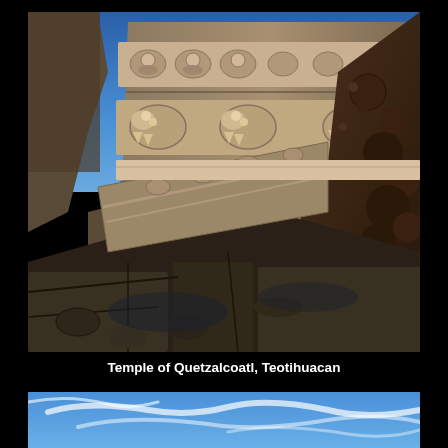[Figure (photo): Close-up angled photograph of the Temple of Quetzalcoatl at Teotihuacan, Mexico. Shows ancient stone carvings of serpent heads and other decorative motifs on the temple facade, with a stone pathway/steps in the foreground and a vivid blue sky in the background.]
Temple of Quetzalcoatl, Teotihuacan
[Figure (photo): Partial photograph showing a bright blue sky with wispy white cirrus clouds, likely the sky above or near a second view of Teotihuacan.]